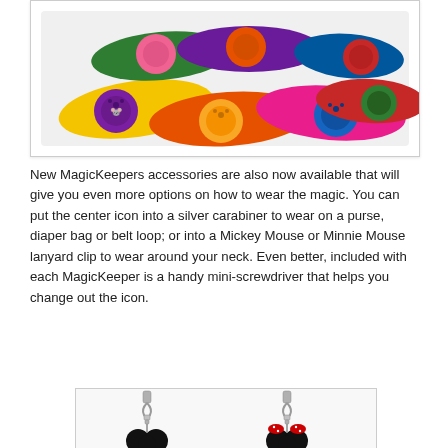[Figure (photo): Multiple colorful Disney MagicBand wristbands in various colors (yellow, orange, green, purple, red, pink, blue) arranged in a fan/spread layout on a white background inside a bordered box.]
New MagicKeepers accessories are also now available that will give you even more options on how to wear the magic. You can put the center icon into a silver carabiner to wear on a purse, diaper bag or belt loop; or into a Mickey Mouse or Minnie Mouse lanyard clip to wear around your neck. Even better, included with each MagicKeeper is a handy mini-screwdriver that helps you change out the icon.
[Figure (photo): Two Disney character lanyard clips/keychains: left one is a Mickey Mouse ears shape in black with a silver lobster clasp, right one is a Minnie Mouse ears shape in black with red polka-dot bow, also with a silver lobster clasp.]